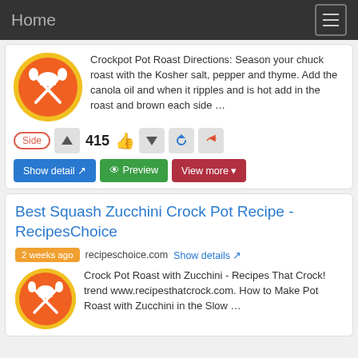Home
Crockpot Pot Roast Directions: Season your chuck roast with the Kosher salt, pepper and thyme. Add the canola oil and when it ripples and is hot add in the roast and brown each side …
Side  415
Best Squash Zucchini Crock Pot Recipe - RecipesChoice
2 weeks ago  recipeschoice.com  Show details
Crock Pot Roast with Zucchini - Recipes That Crock! trend www.recipesthatcrock.com. How to Make Pot Roast with Zucchini in the Slow …